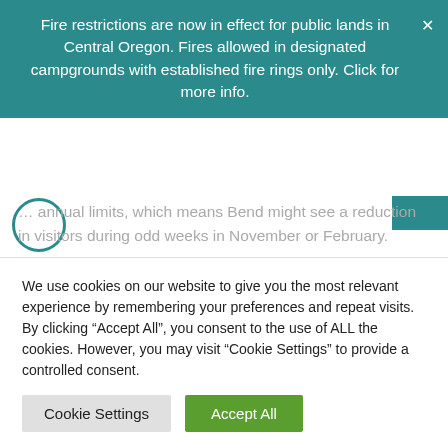Fire restrictions are now in effect for public lands in Central Oregon. Fires allowed in designated campgrounds with established fire rings only. Click for more info.
...annual limits, which means Bend might see a reduction in visitors during odd weeks in November or February.
And it goes without saying the days surrounding Thanksgiving, Christmas, and New Years can book up months (or even years) in advance.
If you're planning a winter vacation, it pays to make early...
We use cookies on our website to give you the most relevant experience by remembering your preferences and repeat visits. By clicking "Accept All", you consent to the use of ALL the cookies. However, you may visit "Cookie Settings" to provide a controlled consent.